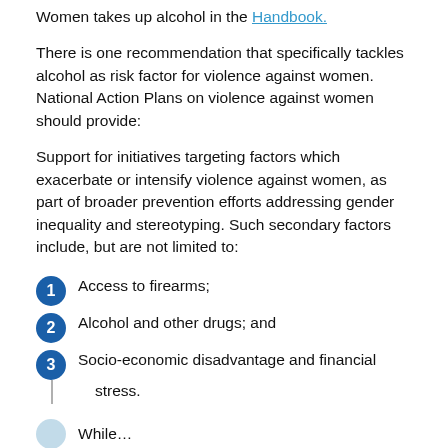Women takes up alcohol in the Handbook.
There is one recommendation that specifically tackles alcohol as risk factor for violence against women. National Action Plans on violence against women should provide:
Support for initiatives targeting factors which exacerbate or intensify violence against women, as part of broader prevention efforts addressing gender inequality and stereotyping. Such secondary factors include, but are not limited to:
Access to firearms;
Alcohol and other drugs; and
Socio-economic disadvantage and financial stress.
While…